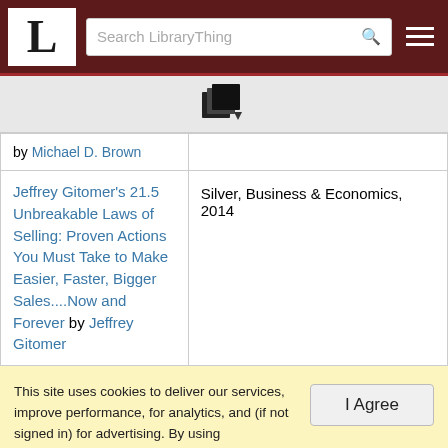LibraryThing — Search LibraryThing
[Figure (logo): LibraryThing copy/export icon]
| by Michael D. Brown |  |
| Jeffrey Gitomer's 21.5 Unbreakable Laws of Selling: Proven Actions You Must Take to Make Easier, Faster, Bigger Sales....Now and Forever by Jeffrey Gitomer | Silver, Business & Economics, 2014 |
This site uses cookies to deliver our services, improve performance, for analytics, and (if not signed in) for advertising. By using LibraryThing you acknowledge that you have read and understand our Terms of Service and Privacy Policy. Your use of the site and services is subject to these policies and terms.